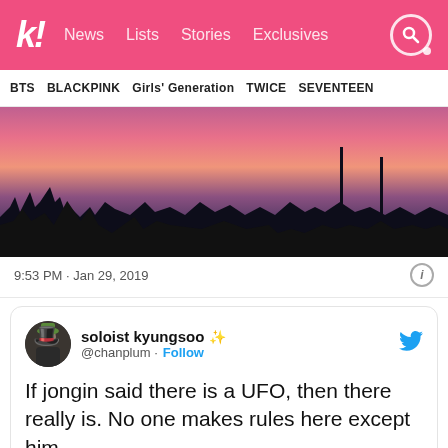k! News Lists Stories Exclusives
BTS  BLACKPINK  Girls' Generation  TWICE  SEVENTEEN
[Figure (photo): Sunset sky photo showing pink and purple clouds over city street with trees and utility poles silhouetted]
9:53 PM · Jan 29, 2019
soloist kyungsoo ✨ @chanplum · Follow
If jongin said there is a UFO, then there really is. No one makes rules here except him
9:59 PM · Jan 29, 2019